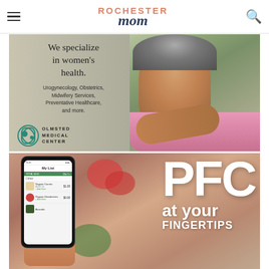Rochester Mom — navigation header with hamburger menu and search icon
[Figure (photo): Advertisement for Olmsted Medical Center women's health services. Shows a smiling older Black woman with grey curly hair wearing a pink shirt. Text reads: 'We specialize in women's health. Urogynecology, Obstetrics, Midwifery Services, Preventative Healthcare, and more.' Olmsted Medical Center logo at bottom left.]
[Figure (photo): Advertisement for PFC (People's Food Co-op) showing a hand holding a smartphone with a shopping app 'My List' open. Large white text reads 'PFC at your FINGERTIPS'. Background shows blurred food/produce.]